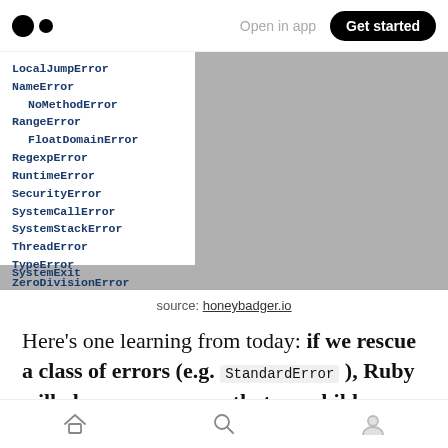[Figure (screenshot): Medium app navigation bar with logo, 'Open in app' text, and 'Get started' button]
[Figure (screenshot): Code block showing Ruby error class hierarchy including LocalJumpError, NameError, NoMethodError, RangeError, FloatDomainError, RegexpError, RuntimeError, SecurityError, SystemCallError, SystemStackError, ThreadError, TypeError, ZeroDivisionError, SystemExit]
source: honeybadger.io
Here's one learning from today: if we rescue a class of errors (e.g. StandardError ), Ruby will also rescue errors that are children classes of that